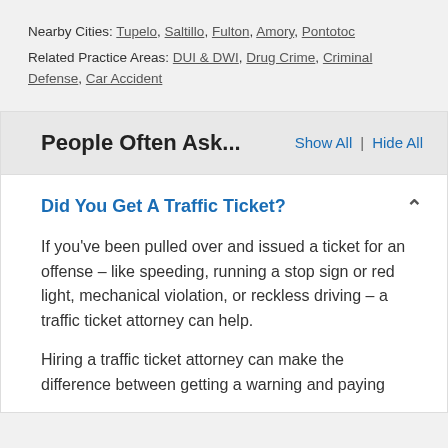Nearby Cities: Tupelo, Saltillo, Fulton, Amory, Pontotoc
Related Practice Areas: DUI & DWI, Drug Crime, Criminal Defense, Car Accident
People Often Ask...
Did You Get A Traffic Ticket?
If you've been pulled over and issued a ticket for an offense – like speeding, running a stop sign or red light, mechanical violation, or reckless driving – a traffic ticket attorney can help.
Hiring a traffic ticket attorney can make the difference between getting a warning and paying